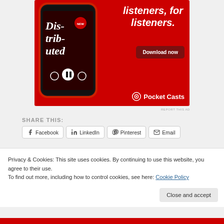[Figure (screenshot): Pocket Casts podcast app advertisement on red background showing a smartphone with 'Distributed' podcast, text 'listeners, for listeners.', a 'Download now' button, and the Pocket Casts logo.]
REPORT THIS AD
SHARE THIS:
Facebook  LinkedIn  Pinterest  Email
Privacy & Cookies: This site uses cookies. By continuing to use this website, you agree to their use.
To find out more, including how to control cookies, see here: Cookie Policy
Close and accept